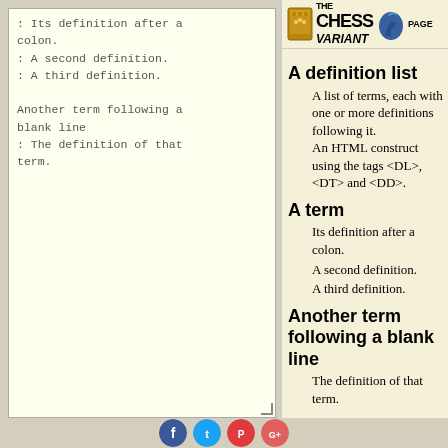: Its definition after a colon.
: A second definition.
: A third definition.

Another term following a blank line
: The definition of that term.
[Figure (logo): The Chess Variant Pages logo with knight piece and brown rook icon]
A definition list
A list of terms, each with one or more definitions following it.
An HTML construct using the tags <DL>, <DT> and <DD>.
A term
Its definition after a colon.
A second definition.
A third definition.
Another term following a blank line
The definition of that term.